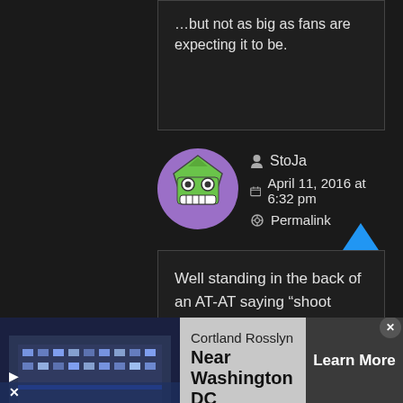…but not as big as fans are expecting it to be.
StoJa
April 11, 2016 at 6:32 pm
Permalink
[Figure (illustration): User avatar: cartoon face with wide eyes and big teeth on a green pentagon shape, inside a purple circle]
Well standing in the back of an AT-AT saying “shoot them” isn’t exactly “much bigger” than what Luke did in TFA.
Michelle Lehte
[Figure (infographic): Advertisement banner: Cortland Rosslyn, Near Washington DC, Learn More button, with building image]
Cortland Rosslyn
Near Washington DC
Learn More